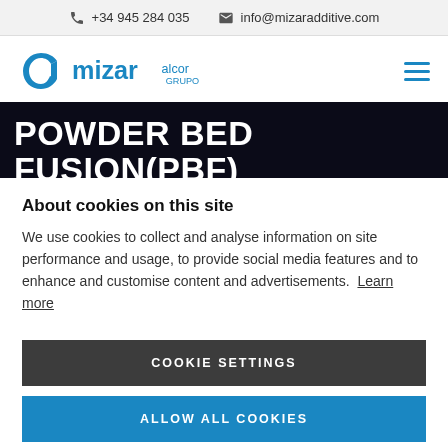+34 945 284 035   info@mizaradditive.com
[Figure (logo): Mizar Alcor Grupo logo with stylized 'a' icon in blue]
POWDER BED FUSION(PBF)
About cookies on this site
We use cookies to collect and analyse information on site performance and usage, to provide social media features and to enhance and customise content and advertisements. Learn more
COOKIE SETTINGS
ALLOW ALL COOKIES